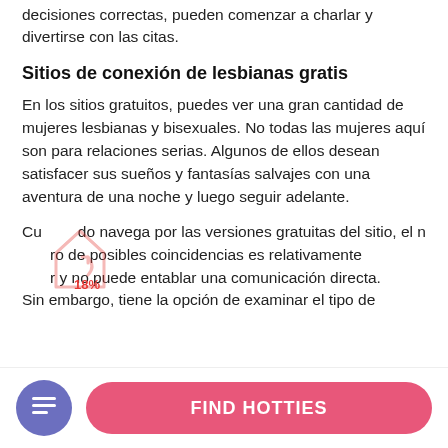decisiones correctas, pueden comenzar a charlar y divertirse con las citas.
Sitios de conexión de lesbianas gratis
En los sitios gratuitos, puedes ver una gran cantidad de mujeres lesbianas y bisexuales. No todas las mujeres aquí son para relaciones serias. Algunos de ellos desean satisfacer sus sueños y fantasías salvajes con una aventura de una noche y luego seguir adelante.
Cuando navega por las versiones gratuitas del sitio, el número de posibles coincidencias es relativamente menor y no puede entablar una comunicación directa. Sin embargo, tiene la opción de examinar el tipo de